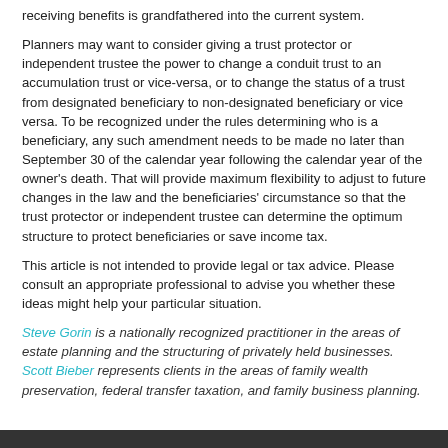receiving benefits is grandfathered into the current system.
Planners may want to consider giving a trust protector or independent trustee the power to change a conduit trust to an accumulation trust or vice-versa, or to change the status of a trust from designated beneficiary to non-designated beneficiary or vice versa. To be recognized under the rules determining who is a beneficiary, any such amendment needs to be made no later than September 30 of the calendar year following the calendar year of the owner's death. That will provide maximum flexibility to adjust to future changes in the law and the beneficiaries' circumstance so that the trust protector or independent trustee can determine the optimum structure to protect beneficiaries or save income tax.
This article is not intended to provide legal or tax advice. Please consult an appropriate professional to advise you whether these ideas might help your particular situation.
Steve Gorin is a nationally recognized practitioner in the areas of estate planning and the structuring of privately held businesses. Scott Bieber represents clients in the areas of family wealth preservation, federal transfer taxation, and family business planning.